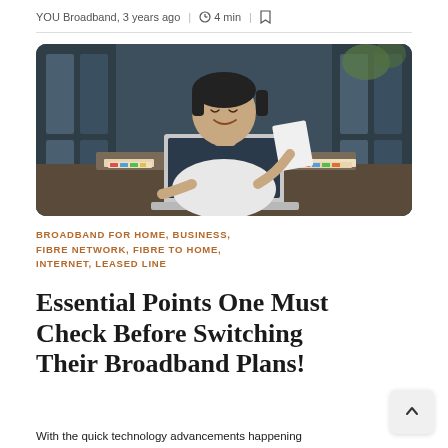YOU Broadband, 3 years ago | 4 min |
[Figure (photo): A young Asian man in a white t-shirt sitting at a desk, smiling, with an open laptop in front of him and a sheet of paper in his right hand. Colorful documents are on the desk. Office background with glass windows.]
BROADBAND FOR HOME, BUSINESS, FIBRE NETWORK, FIBRE TO HOME, INTERNET, LEASED LINE
Essential Points One Must Check Before Switching Their Broadband Plans!
With the quick technology advancements happening